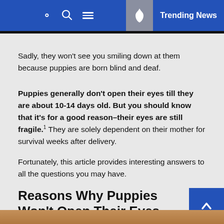Trending News
Sadly, they won't see you smiling down at them because puppies are born blind and deaf.
Puppies generally don't open their eyes till they are about 10-14 days old. But you should know that it's for a good reason–their eyes are still fragile.¹ They are solely dependent on their mother for survival weeks after delivery.
Fortunately, this article provides interesting answers to all the questions you may have.
Reasons Why Puppies Won't Open Their Eyes When They're Born